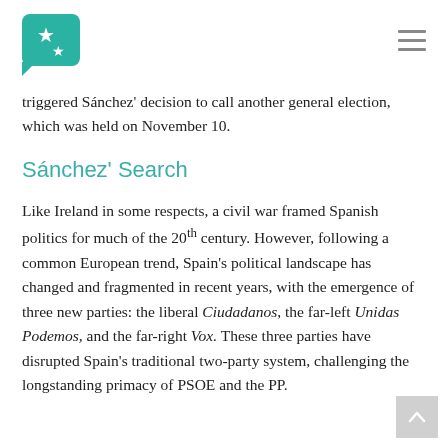[logo and navigation]
triggered Sánchez' decision to call another general election, which was held on November 10.
Sánchez' Search
Like Ireland in some respects, a civil war framed Spanish politics for much of the 20th century. However, following a common European trend, Spain's political landscape has changed and fragmented in recent years, with the emergence of three new parties: the liberal Ciudadanos, the far-left Unidas Podemos, and the far-right Vox. These three parties have disrupted Spain's traditional two-party system, challenging the longstanding primacy of PSOE and the PP.